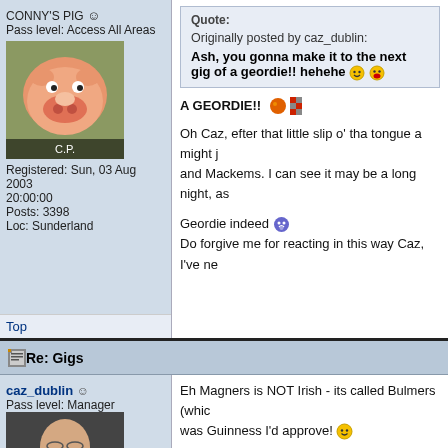CONNY'S PIG
Pass level: Access All Areas
[Figure (photo): Avatar image of a cartoon pig, labeled C.P.]
Registered: Sun, 03 Aug 2003 20:00:00
Posts: 3398
Loc: Sunderland
Quote:
Originally posted by caz_dublin:
Ash, you gonna make it to the next gig of a geordie!! hehehe
A GEORDIE!!
Oh Caz, efter that little slip o' tha tongue a might ju and Mackems. I can see it may be a long night, as
Geordie indeed
Do forgive me for reacting in this way Caz, I've ne
Top
Re: Gigs
caz_dublin
Pass level: Manager
[Figure (photo): Avatar photo of Caroline wearing glasses]
Registered: Sat, 26 Mar 2005 20:00:00
Posts: 499
Eh Magners is NOT Irish - its called Bulmers (whic was Guinness I'd approve!
I thought all Newcastle people were Geordies - as
Looking forward to seeing ya at the next Monume any first time but it gets alot easier after that Ash s